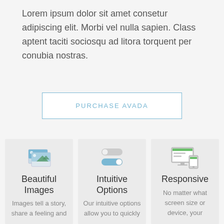Lorem ipsum dolor sit amet consetur adipiscing elit. Morbi vel nulla sapien. Class aptent taciti sociosqu ad litora torquent per conubia nostras.
PURCHASE AVADA
[Figure (illustration): Beautiful Images icon - overlapping landscape photo thumbnails]
Beautiful Images
Images tell a story, share a feeling and
[Figure (illustration): Intuitive Options icon - toggle switches]
Intuitive Options
Our intuitive options allow you to quickly
[Figure (illustration): Responsive icon - desktop and mobile device screens]
Responsive
No matter what screen size or device, your